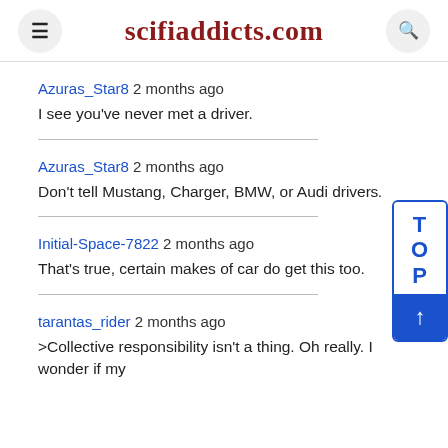scifiaddicts.com
Azuras_Star8 2 months ago
I see you've never met a driver.
Azuras_Star8 2 months ago
Don't tell Mustang, Charger, BMW, or Audi drive...s.
Initial-Space-7822 2 months ago
That's true, certain makes of car do get this too.
tarantas_rider 2 months ago
>Collective responsibility isn't a thing. Oh really. I wonder if my